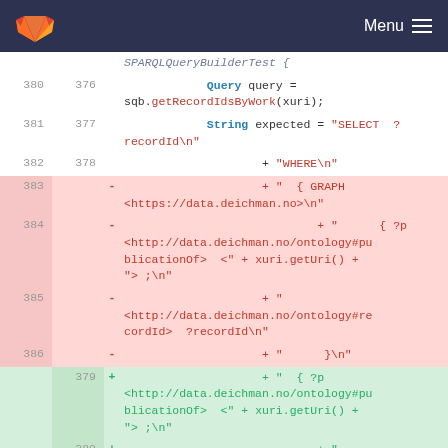GitLab — Menu
[Figure (screenshot): Code diff view showing SPARQLQueryBuilderTest with line numbers, removed lines (383-386) highlighted in red and added lines (379-380) highlighted in green. Shows Java code with Query and String declarations and SPARQL query strings.]